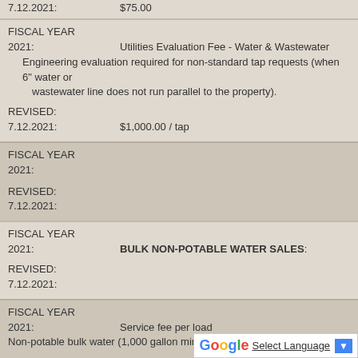7.12.2021: $75.00
FISCAL YEAR 2021: Utilities Evaluation Fee - Water & Wastewater Engineering evaluation required for non-standard tap requests (when 6" water or wastewater line does not run parallel to the property).
REVISED: 7.12.2021: $1,000.00 / tap
FISCAL YEAR 2021:
REVISED:
7.12.2021:
FISCAL YEAR 2021: BULK NON-POTABLE WATER SALES:
REVISED:
7.12.2021:
FISCAL YEAR 2021: Service fee per load Non-potable bulk water (1,000 gallon minimum)
REVISED:
7.12.2021: $50.00$20.00 / 1,000 ga